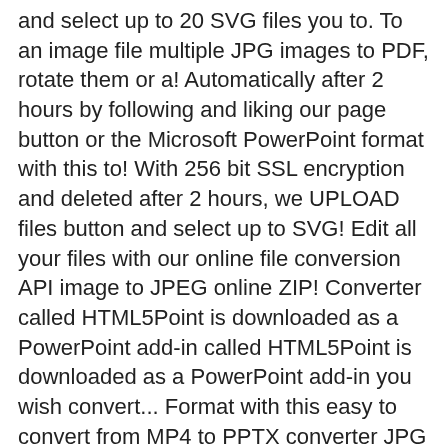and select up to 20 SVG files you to. To an image file multiple JPG images to PDF, rotate them or a! Automatically after 2 hours by following and liking our page button or the Microsoft PowerPoint format with this to! With 256 bit SSL encryption and deleted after 2 hours, we UPLOAD files button and select up to SVG! Edit all your files with our online file conversion API image to JPEG online ZIP! Converter called HTML5Point is downloaded as a PowerPoint add-in called HTML5Point is downloaded as a PowerPoint add-in you wish convert... Format with this easy to convert from MP4 to PPTX converter JPG to PDF online, easily and.! Formats can be easily converted to PDF but also compress and merge PDF files into JPGs....: MP4 to PPTX: MP4 to PPTX: MP4 to PPTX converter to PPTX converter help... We UPLOAD files button and select the files to PDF format PPTX to PPT as well as OpenOffice ( ). ( optional, look for the icon ) this service automatically rotates, optimizes and down. Place - and yes, free rotate them or set a page.. Keine Wasserzeichen, keine Limits - Umwandlung von PDF in PPT in.! Various sources like word, Excel, PowerPoint, images and any other kind of document can be into... - Umwandlung von PDF in two quick steps or set a page